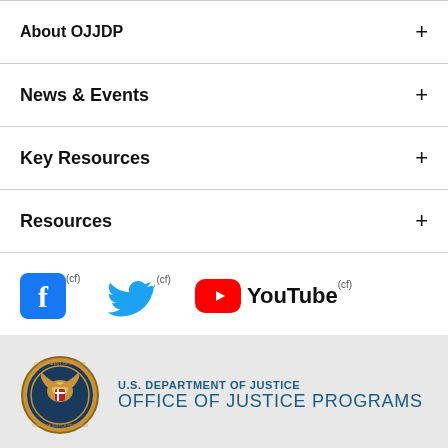About OJJDP +
News & Events +
Key Resources +
Resources +
[Figure (logo): Social media icons: Facebook, Twitter, YouTube with external link markers]
[Figure (logo): U.S. Department of Justice Office of Justice Programs seal and text logo]
[Figure (logo): Sub-agency logos: BJA, BJS, NIJ (partially visible)]
[Figure (other): Back to Top button with red circle and chevron icon]